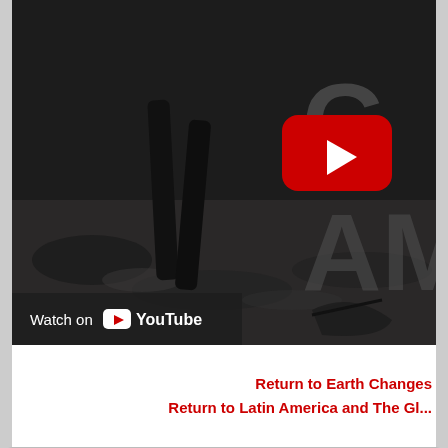[Figure (screenshot): YouTube video thumbnail screenshot showing a dark, black-and-white scene with a person's legs and a YouTube play button icon in red/white. Large gray letters partially visible on the right side. A 'Watch on YouTube' bar appears at the bottom left of the video area.]
Return to Earth Changes
Return to Latin America and The Gl...